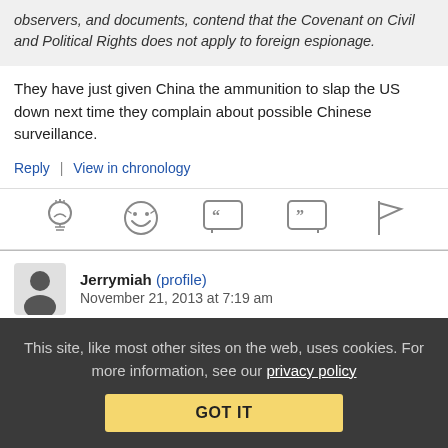observers, and documents, contend that the Covenant on Civil and Political Rights does not apply to foreign espionage.
They have just given China the ammunition to slap the US down next time they complain about possible Chinese surveillance.
Reply | View in chronology
[Figure (other): Reaction icon bar with lightbulb, laughing face, speech bubble with quotes (open), speech bubble with quotes (close), and flag icons]
Jerrymiah (profile) November 21, 2013 at 7:19 am
US working overtime etc
This site, like most other sites on the web, uses cookies. For more information, see our privacy policy GOT IT